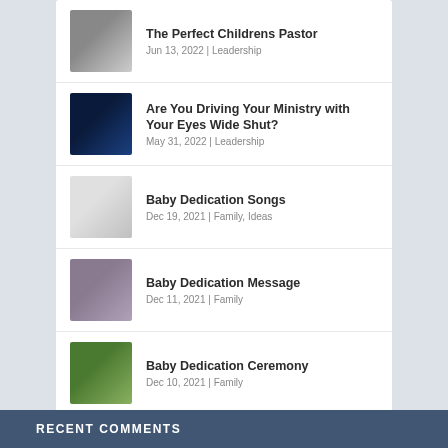The Perfect Childrens Pastor | Jun 13, 2022 | Leadership
Are You Driving Your Ministry with Your Eyes Wide Shut? | May 31, 2022 | Leadership
Baby Dedication Songs | Dec 19, 2021 | Family, Ideas
Baby Dedication Message | Dec 11, 2021 | Family
Baby Dedication Ceremony | Dec 10, 2021 | Family
RECENT COMMENTS